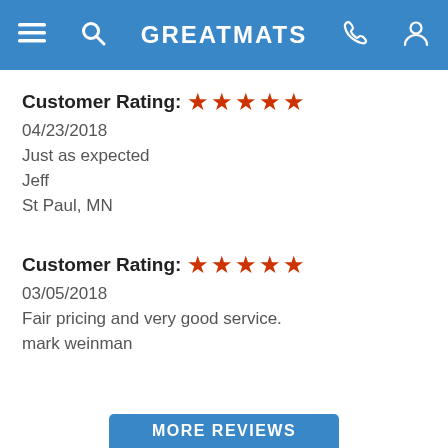GREATMATS
Customer Rating: ★★★★★
04/23/2018
Just as expected
Jeff
St Paul, MN
Customer Rating: ★★★★★
03/05/2018
Fair pricing and very good service.
mark weinman
MORE REVIEWS